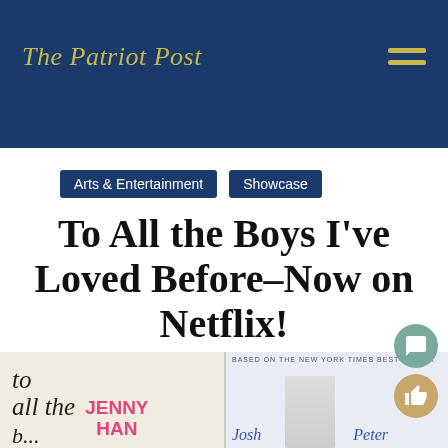The Patriot Post
Arts & Entertainment  Showcase
To All the Boys I've Loved Before–Now on Netflix!
[Figure (photo): Book cover of 'To All the Boys I've Loved Before' by Jenny Han on the left, and movie poster/still from the Netflix adaptation on the right]